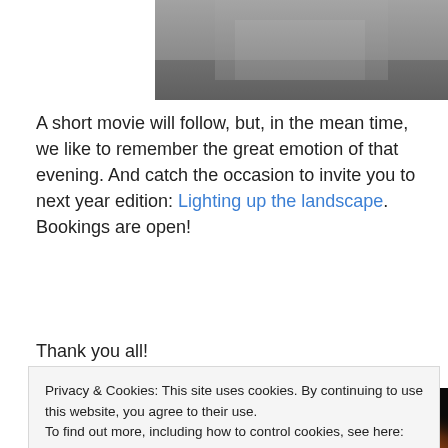[Figure (photo): Black and white photo cropped at top, showing partial torso/clothing]
A short movie will follow, but, in the mean time, we like to remember the great emotion of that evening. And catch the occasion to invite you to next year edition: Lighting up the landscape. Bookings are open!
Thank you all!
[Figure (photo): Two side-by-side dark concert/event photos. Left: black and white photo of person with glasses on stage. Right: person lit with warm orange light on dark stage.]
Privacy & Cookies: This site uses cookies. By continuing to use this website, you agree to their use.
To find out more, including how to control cookies, see here: Cookie Policy